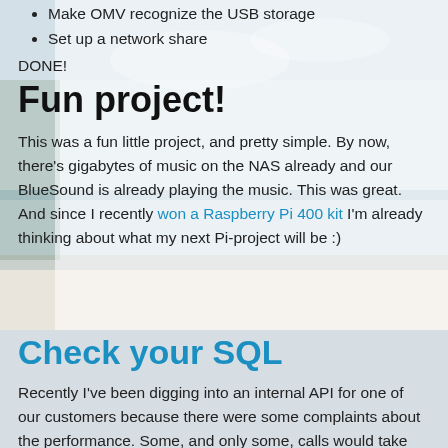Make OMV recognize the USB storage
Set up a network share
DONE!
Fun project!
This was a fun little project, and pretty simple. By now, there's gigabytes of music on the NAS already and our BlueSound is already playing the music. This was great. And since I recently won a Raspberry Pi 400 kit I'm already thinking about what my next Pi-project will be :)
Check your SQL
Recently I've been digging into an internal API for one of our customers because there were some complaints about the performance. Some, and only some, calls would take over 10 seconds to complete. These were all calls that were being used by XHR requests fetching data for display, and the users were (rightfully so) getting annoyed by some pages taking so long to